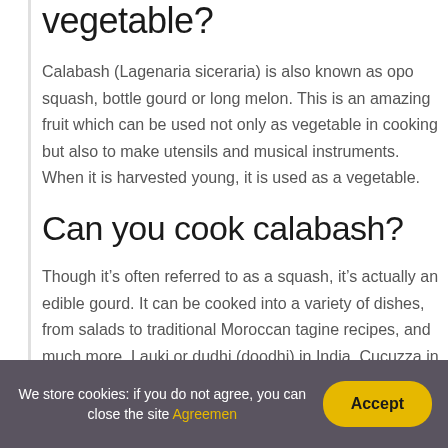vegetable?
Calabash (Lagenaria siceraria) is also known as opo squash, bottle gourd or long melon. This is an amazing fruit which can be used not only as vegetable in cooking but also to make utensils and musical instruments. When it is harvested young, it is used as a vegetable.
Can you cook calabash?
Though it’s often referred to as a squash, it’s actually an edible gourd. It can be cooked into a variety of dishes, from salads to traditional Moroccan tagine recipes, and much more. Lauki or dudhi (doodhi) in India. Cucuzza in Italy.
We store cookies: if you do not agree, you can close the site Agreemen  Accept